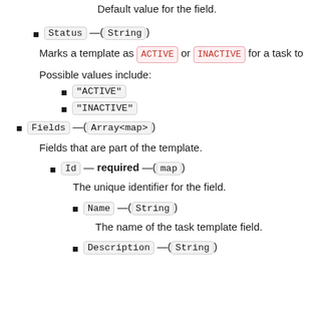Default value for the field.
Status — (String)
Marks a template as ACTIVE or INACTIVE for a task to
Possible values include:
"ACTIVE"
"INACTIVE"
Fields — (Array<map>)
Fields that are part of the template.
Id — required — (map)
The unique identifier for the field.
Name — (String)
The name of the task template field.
Description — (String)